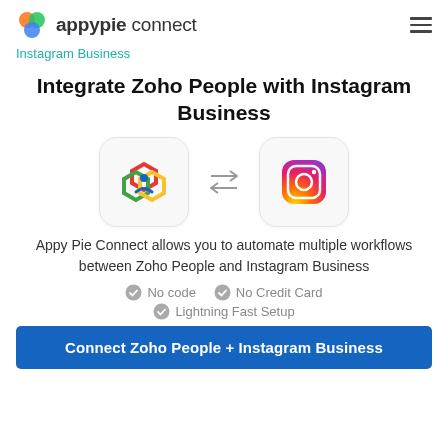appypie connect
Instagram Business
Integrate Zoho People with Instagram Business
[Figure (illustration): Zoho People logo icon in a rounded rectangle box, double arrows pointing right and left, Instagram logo icon in a rounded rectangle box]
Appy Pie Connect allows you to automate multiple workflows between Zoho People and Instagram Business
No code
No Credit Card
Lightning Fast Setup
Connect Zoho People + Instagram Business